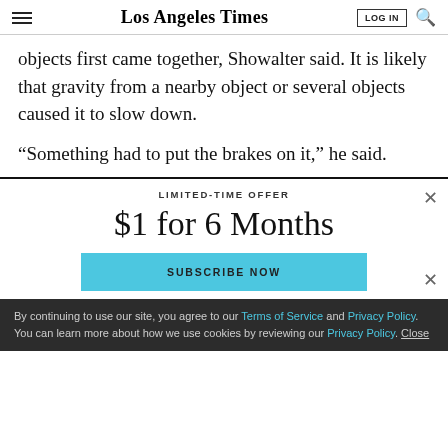Los Angeles Times
objects first came together, Showalter said. It is likely that gravity from a nearby object or several objects caused it to slow down.
“Something had to put the brakes on it,” he said.
LIMITED-TIME OFFER
$1 for 6 Months
SUBSCRIBE NOW
By continuing to use our site, you agree to our Terms of Service and Privacy Policy. You can learn more about how we use cookies by reviewing our Privacy Policy. Close